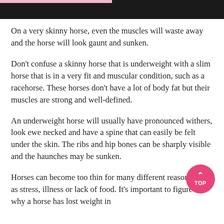[Figure (photo): Dark banner image of a horse or outdoor scene at the top of the page]
On a very skinny horse, even the muscles will waste away and the horse will look gaunt and sunken.
Don't confuse a skinny horse that is underweight with a slim horse that is in a very fit and muscular condition, such as a racehorse. These horses don't have a lot of body fat but their muscles are strong and well-defined.
An underweight horse will usually have pronounced withers, look ewe necked and have a spine that can easily be felt under the skin. The ribs and hip bones can be sharply visible and the haunches may be sunken.
Horses can become too thin for many different reasons, such as stress, illness or lack of food. It's important to figure out why a horse has lost weight in